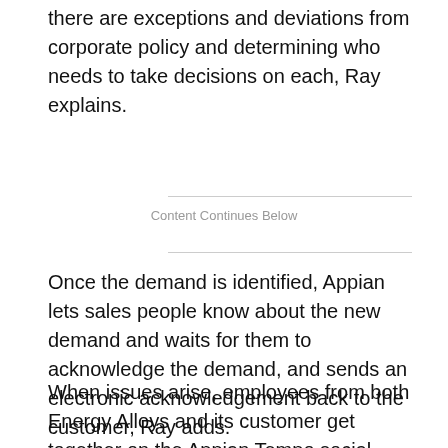there are exceptions and deviations from corporate policy and determining who needs to take decisions on each, Ray explains.
Content Continues Below
Once the demand is identified, Appian lets sales people know about the new demand and waits for them to acknowledge the demand, and sends an electronic acknowledgement back to the customer, Ray adds.
When issues arise, employees from both Energy Alloys and its customer get together on the Appian Tempo social collaboration tool to discuss the specific issue,